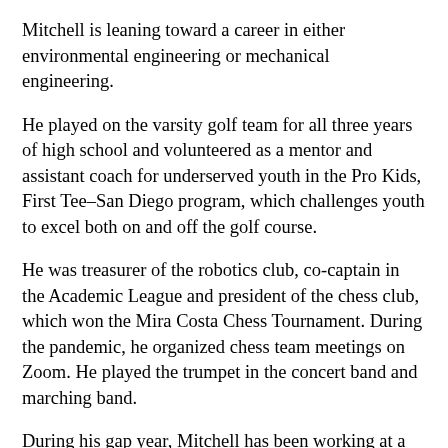Mitchell is leaning toward a career in either environmental engineering or mechanical engineering.
He played on the varsity golf team for all three years of high school and volunteered as a mentor and assistant coach for underserved youth in the Pro Kids, First Tee–San Diego program, which challenges youth to excel both on and off the golf course.
He was treasurer of the robotics club, co-captain in the Academic League and president of the chess club, which won the Mira Costa Chess Tournament. During the pandemic, he organized chess team meetings on Zoom. He played the trumpet in the concert band and marching band.
During his gap year, Mitchell has been working at a local Panera Bread and volunteers to play the piano for patients, visitors and workers at the Walter Reed National Medical Center. He also plays the guitar in his youth worship band at church and says he loves “to fill the room with sound. I love how it goes together with all the other instruments so well.”